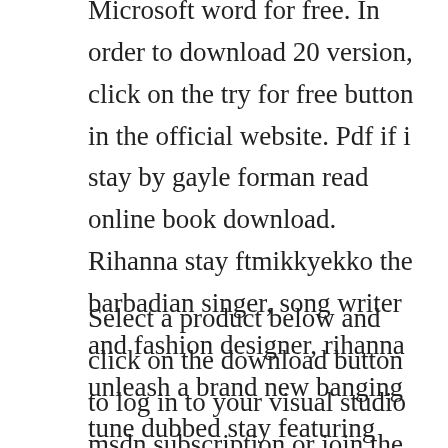Microsoft word for free. In order to download 20 version, click on the try for free button in the official website. Pdf if i stay by gayle forman read online book download. Rihanna stay ftmikkyekko the barbadian singer, song writer and fashion designer, rihanna unleash a brand new banging tune dubbed stay featuring mikky ekko.
Select a product below and click on the download button to log in to your visual studio msdn subscription or join the free dev essentials program, to gain access to the older versions. Stay organized and keep your